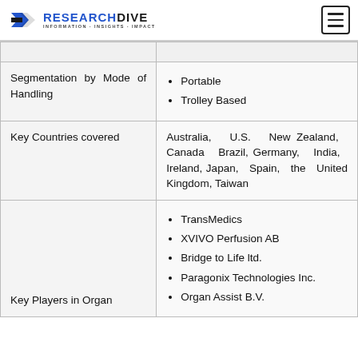RESEARCH DIVE — INFORMATION-INSIGHTS-IMPACT
| Category | Details |
| --- | --- |
| Segmentation by Mode of Handling | • Portable
• Trolley Based |
| Key Countries covered | Australia, U.S. New Zealand, Canada Brazil, Germany, India, Ireland, Japan, Spain, the United Kingdom, Taiwan |
| Key Players in Organ | • TransMedics
• XVIVO Perfusion AB
• Bridge to Life ltd.
• Paragonix Technologies Inc.
• Organ Assist B.V. |